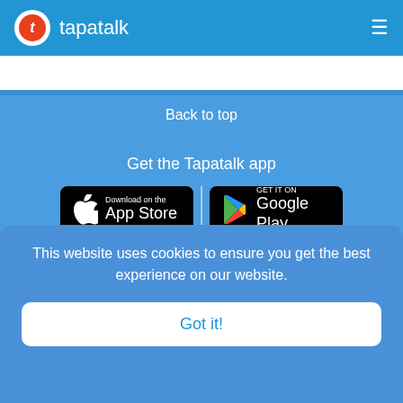tapatalk
Back to top
Get the Tapatalk app
[Figure (logo): Download on the App Store button]
[Figure (logo): Get it on Google Play button]
PRODUCTS
SUPPORT
Tapatalk Forums
Tapatalk Forum
ABOUT US
LinkedIn
This website uses cookies to ensure you get the best experience on our website.
Got it!